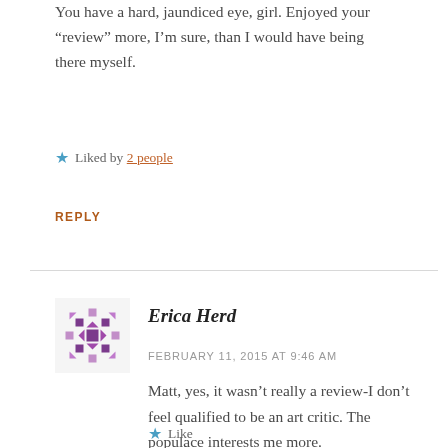You have a hard, jaundiced eye, girl. Enjoyed your “review” more, I’m sure, than I would have being there myself.
Liked by 2 people
REPLY
Erica Herd
FEBRUARY 11, 2015 AT 9:46 AM
Matt, yes, it wasn’t really a review-I don’t feel qualified to be an art critic. The populace interests me more.
Like